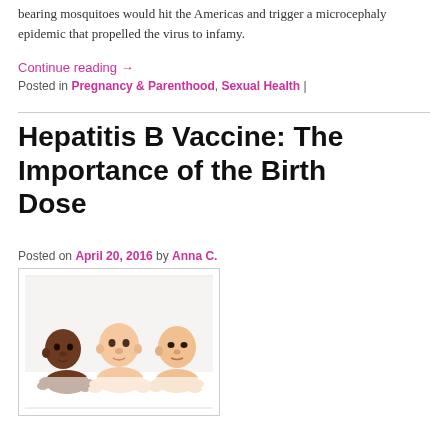bearing mosquitoes would hit the Americas and trigger a microcephaly epidemic that propelled the virus to infamy.
Continue reading →
Posted in Pregnancy & Parenthood, Sexual Health |
Hepatitis B Vaccine: The Importance of the Birth Dose
Posted on April 20, 2016 by Anna C.
[Figure (photo): Three babies of different ethnicities lying on a white surface, looking forward]